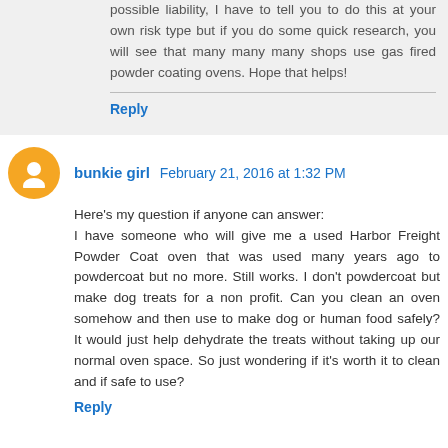possible liability, I have to tell you to do this at your own risk type but if you do some quick research, you will see that many many many shops use gas fired powder coating ovens. Hope that helps!
Reply
bunkie girl  February 21, 2016 at 1:32 PM
Here's my question if anyone can answer:
I have someone who will give me a used Harbor Freight Powder Coat oven that was used many years ago to powdercoat but no more. Still works. I don't powdercoat but make dog treats for a non profit. Can you clean an oven somehow and then use to make dog or human food safely? It would just help dehydrate the treats without taking up our normal oven space. So just wondering if it's worth it to clean and if safe to use?
Reply